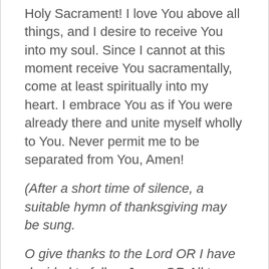Holy Sacrament! I love You above all things, and I desire to receive You into my soul. Since I cannot at this moment receive You sacramentally, come at least spiritually into my heart. I embrace You as if You were already there and unite myself wholly to You. Never permit me to be separated from You, Amen!
(After a short time of silence, a suitable hymn of thanksgiving may be sung.
O give thanks to the Lord OR I have decided to follow Jesus OR All to Jesus, I surrender OR Any other)
CONCLUSION
Glory be to the Father and to the Son and to the Holy Spirit